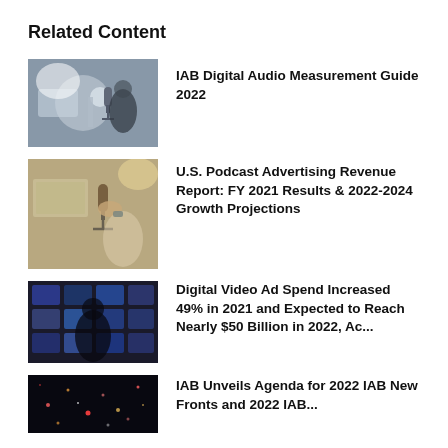Related Content
IAB Digital Audio Measurement Guide 2022
U.S. Podcast Advertising Revenue Report: FY 2021 Results & 2022-2024 Growth Projections
Digital Video Ad Spend Increased 49% in 2021 and Expected to Reach Nearly $50 Billion in 2022, Ac...
IAB Unveils Agenda for 2022 IAB New Fronts and 2022 IAB...